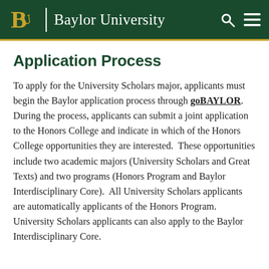Baylor University
Application Process
To apply for the University Scholars major, applicants must begin the Baylor application process through goBAYLOR.  During the process, applicants can submit a joint application to the Honors College and indicate in which of the Honors College opportunities they are interested.  These opportunities include two academic majors (University Scholars and Great Texts) and two programs (Honors Program and Baylor Interdisciplinary Core).  All University Scholars applicants are automatically applicants of the Honors Program.  University Scholars applicants can also apply to the Baylor Interdisciplinary Core.